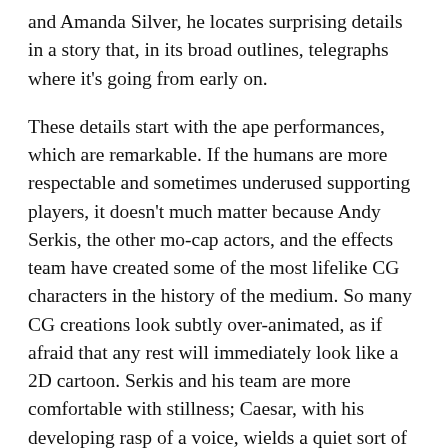and Amanda Silver, he locates surprising details in a story that, in its broad outlines, telegraphs where it's going from early on.
These details start with the ape performances, which are remarkable. If the humans are more respectable and sometimes underused supporting players, it doesn't much matter because Andy Serkis, the other mo-cap actors, and the effects team have created some of the most lifelike CG characters in the history of the medium. So many CG creations look subtly over-animated, as if afraid that any rest will immediately look like a 2D cartoon. Serkis and his team are more comfortable with stillness; Caesar, with his developing rasp of a voice, wields a quiet sort of power.
With all of the CG apes, costs have to be cut somewhere, and Twentieth Century Fox is notorious in some attentive film-geek circles for shooting productions in Vancouver, randomly assigning genre stories foresty environments for budgetary reasons (this is especially prevalent in their comics